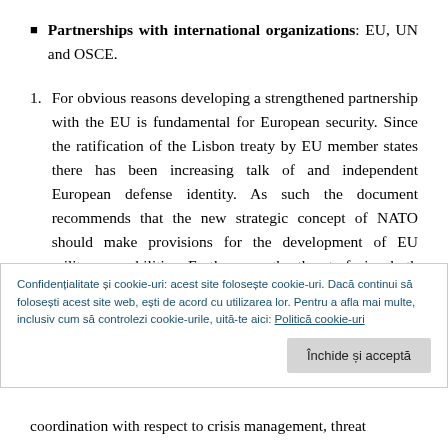Partnerships with international organizations: EU, UN and OSCE.
For obvious reasons developing a strengthened partnership with the EU is fundamental for European security. Since the ratification of the Lisbon treaty by EU member states there has been increasing talk of and independent European defense identity. As such the document recommends that the new strategic concept of NATO should make provisions for the development of EU military capabilities. Furthermore the threats facing both actors should not be categorized too
Confidențialitate și cookie-uri: acest site folosește cookie-uri. Dacă continui să folosești acest site web, ești de acord cu utilizarea lor. Pentru a afla mai multe, inclusiv cum să controlezi cookie-urile, uită-te aici: Politică cookie-uri
Închide și acceptă
coordination with respect to crisis management, threat